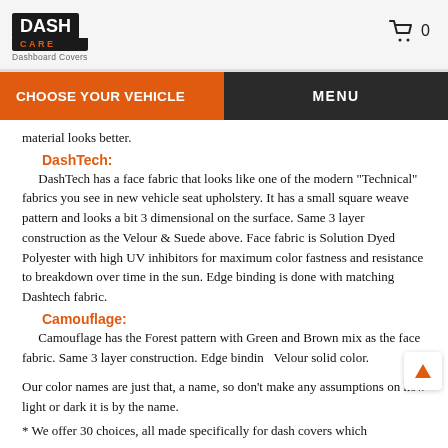DASH CARE Dashboard Covers
CHOOSE YOUR VEHICLE | MENU
material looks better.
DashTech:
DashTech has a face fabric that looks like one of the modern "Technical" fabrics you see in new vehicle seat upholstery. It has a small square weave pattern and looks a bit 3 dimensional on the surface. Same 3 layer construction as the Velour & Suede above. Face fabric is Solution Dyed Polyester with high UV inhibitors for maximum color fastness and resistance to breakdown over time in the sun. Edge binding is done with matching Dashtech fabric.
Camouflage:
Camouflage has the Forest pattern with Green and Brown mix as the face fabric. Same 3 layer construction. Edge binding Velour solid color.
Our color names are just that, a name, so don't make any assumptions on how light or dark it is by the name.
* We offer 30 choices, all made specifically for dash covers which